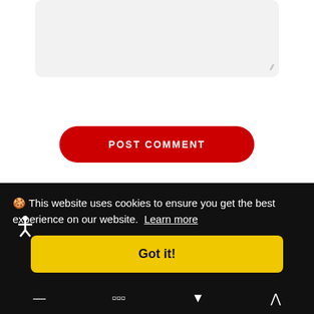[Figure (screenshot): Textarea input box with light gray background and resize handle in bottom-right corner]
POST COMMENT
Recent Posts
[Figure (screenshot): Red-bordered card area below Recent Posts heading]
🍪 This website uses cookies to ensure you get the best experience on our website. Learn more
Got it!